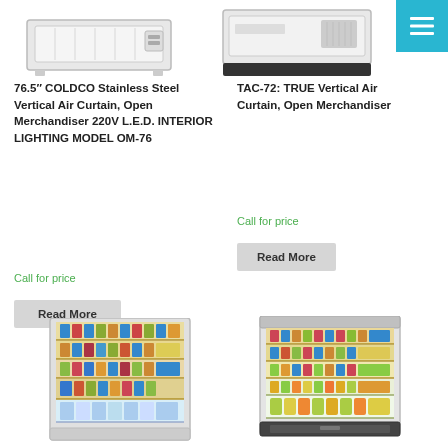[Figure (photo): Top portion of Coldco 76.5 inch stainless steel vertical air curtain open merchandiser unit, showing front view]
[Figure (photo): TAC-72 True vertical air curtain open merchandiser unit, showing front view with black base]
76.5″ COLDCO Stainless Steel Vertical Air Curtain, Open Merchandiser 220V L.E.D. INTERIOR LIGHTING MODEL OM-76
TAC-72: TRUE Vertical Air Curtain, Open Merchandiser
Call for price
Call for price
Read More
Read More
[Figure (photo): Open refrigerated vertical air curtain merchandiser filled with products on multiple shelves, Coldco style unit]
[Figure (photo): Open refrigerated vertical air curtain merchandiser filled with products on multiple shelves, True style unit with dark base drawer]